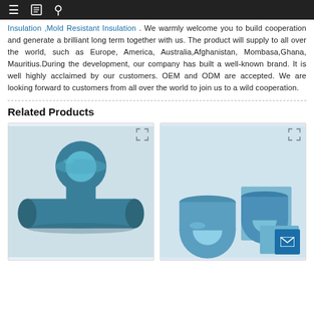≡ [book icon] [search icon]
Insulation ,Mold Resistant Insulation . We warmly welcome you to build cooperation and generate a brilliant long term together with us. The product will supply to all over the world, such as Europe, America, Australia,Afghanistan, Mombasa,Ghana, Mauritius.During the development, our company has built a well-known brand. It is well highly acclaimed by our customers. OEM and ODM are accepted. We are looking forward to customers from all over the world to join us to a wild cooperation.
Related Products
[Figure (photo): Teal/blue foam pipe fitting insulation product shown as a T-shaped pipe connector with circular cross-sections, dark teal color against a light background.]
[Figure (photo): Blue foam pipe insulation rolls and rectangular foam blocks, light blue color, shown stacked together against a light background. A mail/email button is visible in the bottom right corner.]